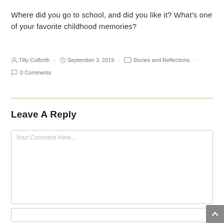Where did you go to school, and did you like it? What’s one of your favorite childhood memories?
Tilly Cutforth  -  September 3, 2019  -  Stories and Reflections  -  0 Comments
Leave A Reply
Your Comment Here...